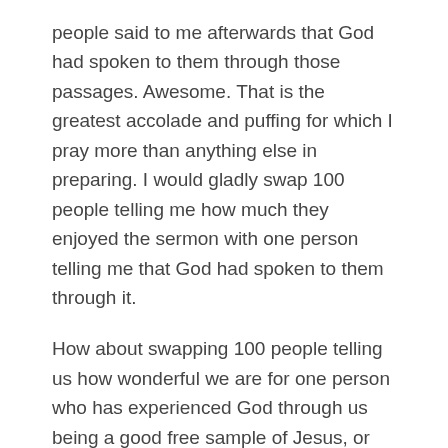people said to me afterwards that God had spoken to them through those passages. Awesome. That is the greatest accolade and puffing for which I pray more than anything else in preparing. I would gladly swap 100 people telling me how much they enjoyed the sermon with one person telling me that God had spoken to them through it.
How about swapping 100 people telling us how wonderful we are for one person who has experienced God through us being a good free sample of Jesus, or telling us that God had spoken to them through us?
*Chris, for your encouragement and to add to your own story on Saturday, I have been dictating this through my computer and it interpreted your surname as 'stuff it'.